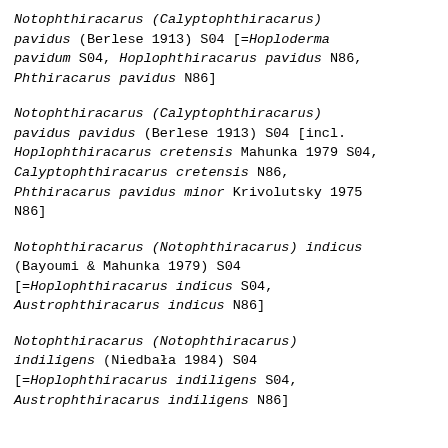Notophthiracarus (Calyptophthiracarus) pavidus (Berlese 1913) S04 [=Hoploderma pavidum S04, Hoplophthiracarus pavidus N86, Phthiracarus pavidus N86]
Notophthiracarus (Calyptophthiracarus) pavidus pavidus (Berlese 1913) S04 [incl. Hoplophthiracarus cretensis Mahunka 1979 S04, Calyptophthiracarus cretensis N86, Phthiracarus pavidus minor Krivolutsky 1975 N86]
Notophthiracarus (Notophthiracarus) indicus (Bayoumi & Mahunka 1979) S04 [=Hoplophthiracarus indicus S04, Austrophthiracarus indicus N86]
Notophthiracarus (Notophthiracarus) indiligens (Niedbała 1984) S04 [=Hoplophthiracarus indiligens S04, Austrophthiracarus indiligens N86]